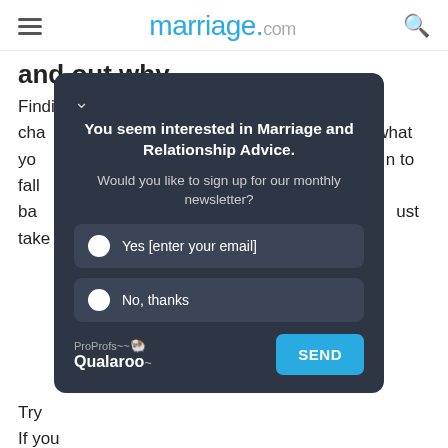marriage.com
and out why
Finding out the reason for the problem could be challenging. Understanding what you... to fall back... just take is t...
[Figure (screenshot): A popup/modal widget from ProProfs Qualaroo asking: 'You seem interested in Marriage and Relationship Advice. Would you like to sign up for our monthly newsletter?' with two radio options: 'Yes [enter your email]' and 'No, thanks', and a SEND button.]
Try... If you are... x, the cha...
Ho... ve.